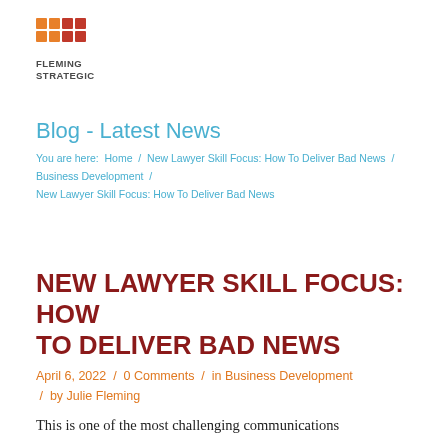[Figure (logo): Fleming Strategic logo with orange/red grid squares and bold text FLEMING STRATEGIC]
Blog - Latest News
You are here:  Home  /  New Lawyer Skill Focus: How To Deliver Bad News  /  Business Development  /  New Lawyer Skill Focus: How To Deliver Bad News
NEW LAWYER SKILL FOCUS: HOW TO DELIVER BAD NEWS
April 6, 2022  /  0 Comments  /  in Business Development  /  by Julie Fleming
This is one of the most challenging communications